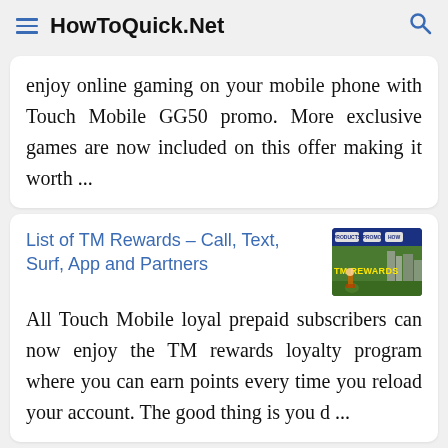HowToQuick.Net
enjoy online gaming on your mobile phone with Touch Mobile GG50 promo. More exclusive games are now included on this offer making it worth ...
List of TM Rewards – Call, Text, Surf, App and Partners
[Figure (screenshot): Screenshot thumbnail showing TM Rewards banner with city skyline background and yellow TM REWARDS text]
All Touch Mobile loyal prepaid subscribers can now enjoy the TM rewards loyalty program where you can earn points every time you reload your account. The good thing is you d ...